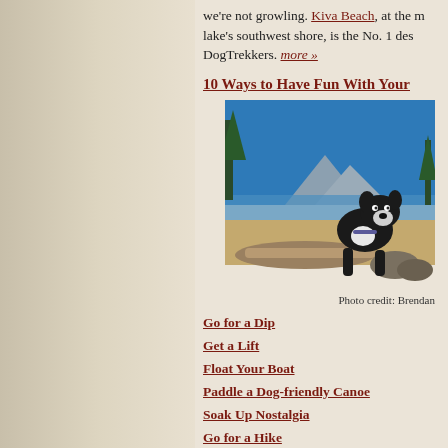we're not growling. Kiva Beach, at the m... lake's southwest shore, is the No. 1 des... DogTrekkers. more »
10 Ways to Have Fun With Your...
[Figure (photo): A black and white dog sitting on driftwood at a sandy beach with a mountain lake and blue sky in the background.]
Photo credit: Brendan
Go for a Dip
Get a Lift
Float Your Boat
Paddle a Dog-friendly Canoe
Soak Up Nostalgia
Go for a Hike